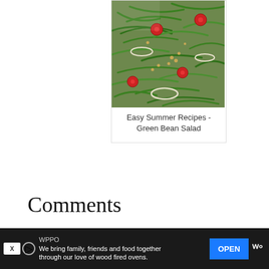[Figure (photo): Close-up photo of green bean salad with cherry tomatoes, sliced onions, and pine nuts]
Easy Summer Recipes - Green Bean Salad
Comments
Tammy says
WPPO We bring family, friends and food together through our love of wood fired ovens. OPEN